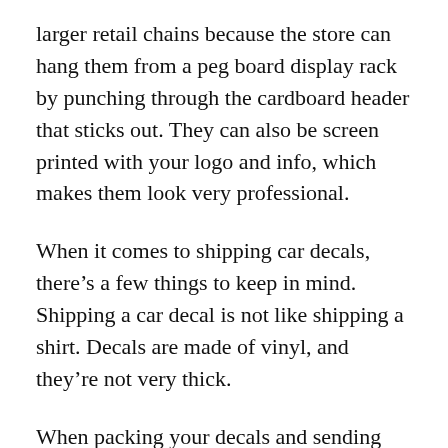larger retail chains because the store can hang them from a peg board display rack by punching through the cardboard header that sticks out. They can also be screen printed with your logo and info, which makes them look very professional.
When it comes to shipping car decals, there’s a few things to keep in mind. Shipping a car decal is not like shipping a shirt. Decals are made of vinyl, and they’re not very thick.
When packing your decals and sending them out to your customers, you need to make sure that they don’t get bent or folded during shipping. If the decal gets folded or creased, it